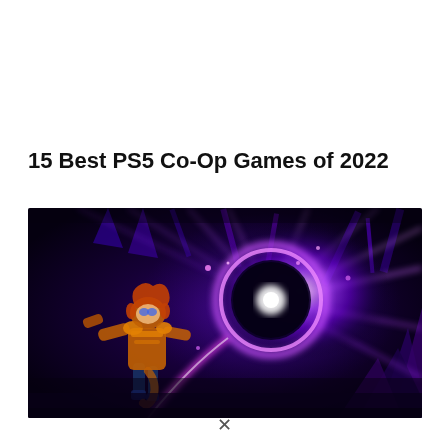15 Best PS5 Co-Op Games of 2022
[Figure (illustration): A vibrant video game screenshot showing a character (Ratchet & Clank style) facing a glowing purple portal or energy vortex in a dark cosmic environment. The scene features bright purple and magenta light effects radiating from a central portal, with a character on the left side viewed from behind.]